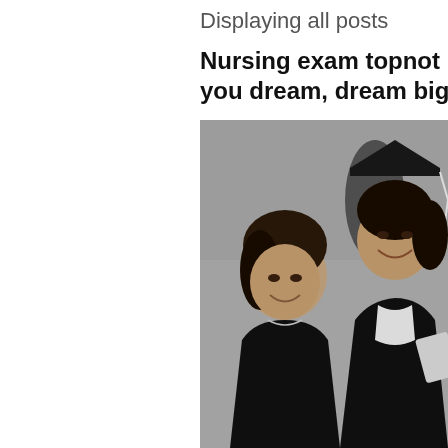Displaying all posts
Nursing exam topnotcher: If you dream, dream big
[Figure (photo): Black and white photo of two women smiling, one wearing a graduation cap and gown holding a diploma tassel, the other in a dark top, posing together at a graduation ceremony.]